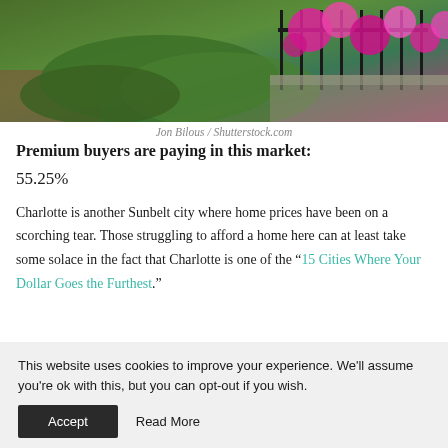[Figure (photo): Aerial or ground-level view of a garden with green hedges and bright pink flowering roses behind a black iron fence]
Jon Bilous / Shutterstock.com
Premium buyers are paying in this market:
55.25%
Charlotte is another Sunbelt city where home prices have been on a scorching tear. Those struggling to afford a home here can at least take some solace in the fact that Charlotte is one of the “15 Cities Where Your Dollar Goes the Furthest.”
This website uses cookies to improve your experience. We'll assume you're ok with this, but you can opt-out if you wish.